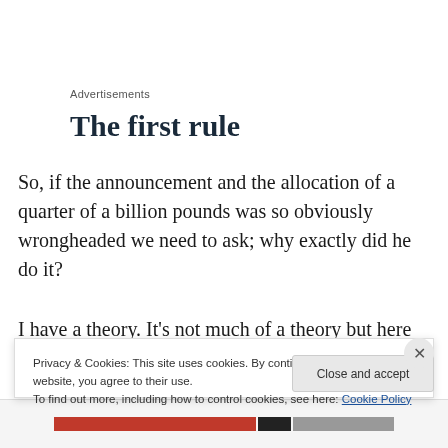Advertisements
The first rule
So, if the announcement and the allocation of a quarter of a billion pounds was so obviously wrongheaded we need to ask; why exactly did he do it?
I have a theory. It’s not much of a theory but here goes. Eric Pickles genuinely believed that what he was
Privacy & Cookies: This site uses cookies. By continuing to use this website, you agree to their use.
To find out more, including how to control cookies, see here: Cookie Policy
Close and accept